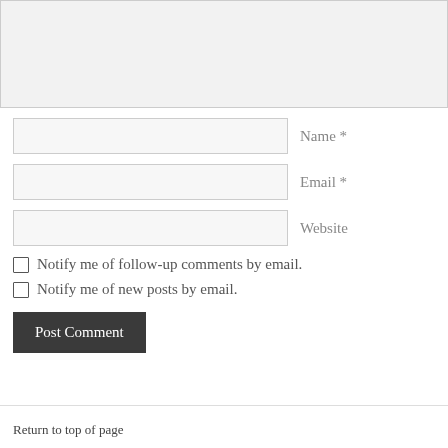[Figure (other): Textarea input field with light gray background]
Name *
Email *
Website
Notify me of follow-up comments by email.
Notify me of new posts by email.
Post Comment
Return to top of page